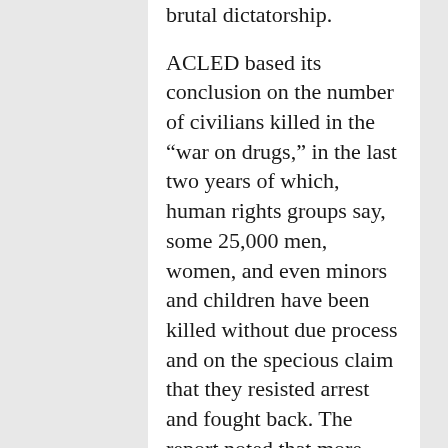Ferdinand Marcos's equally brutal dictatorship. ACLED based its conclusion on the number of civilians killed in the “war on drugs,” in the last two years of which, human rights groups say, some 25,000 men, women, and even minors and children have been killed without due process and on the specious claim that they resisted arrest and fought back. The report noted that more civilians were killed in the Philippines last